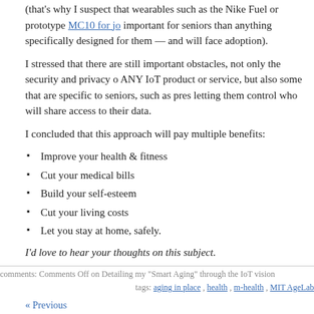(that's why I suspect that wearables such as the Nike Fuel or prototype MC10 for jo... important for seniors than anything specifically designed for them — and will face adoption).
I stressed that there are still important obstacles, not only the security and privacy of ANY IoT product or service, but also some that are specific to seniors, such as pres... letting them control who will share access to their data.
I concluded that this approach will pay multiple benefits:
Improve your health & fitness
Cut your medical bills
Build your self-esteem
Cut your living costs
Let you stay at home, safely.
I'd love to hear your thoughts on this subject.
comments: Comments Off on Detailing my "Smart Aging" through the IoT vision
tags: aging in place, health, m-health, MIT AgeLab
« Previous
http://www.stephensonstrategies.com/">Stephenson blogs on Internet of Things Internet of Things strategy, breakthroughs and management